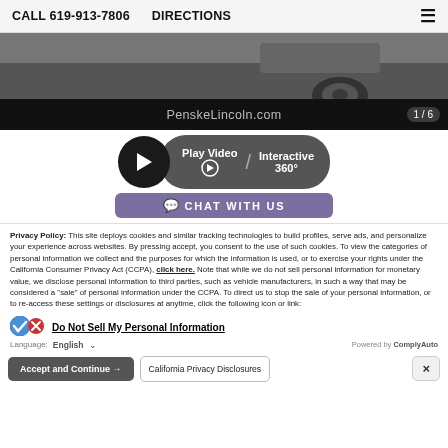CALL 619-913-7806   DIRECTIONS
[Figure (photo): Partial view of a dark car (wheel visible) on a dark background]
PenskeLincoln.com   1 / 6
[Figure (infographic): Play Video / Interactive 360° button and CHAT WITH US bar]
Privacy Policy: This site deploys cookies and similar tracking technologies to build profiles, serve ads, and personalize your experience across websites. By pressing accept, you consent to the use of such cookies. To view the categories of personal information we collect and the purposes for which the information is used, or to exercise your rights under the California Consumer Privacy Act (CCPA), click here. Note that while we do not sell personal information for monetary value, we disclose personal information to third parties, such as vehicle manufacturers, in such a way that may be considered a "sale" of personal information under the CCPA. To direct us to stop the sale of your personal information, or to re-access these settings or disclosures at anytime, click the following icon or link:
Do Not Sell My Personal Information
Language: English   Powered by ComplyAuto
Accept and Continue →   California Privacy Disclosures   ×